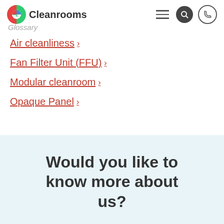Cleanrooms Glossary
Air cleanliness
Fan Filter Unit (FFU)
Modular cleanroom
Opaque Panel
Would you like to know more about us?